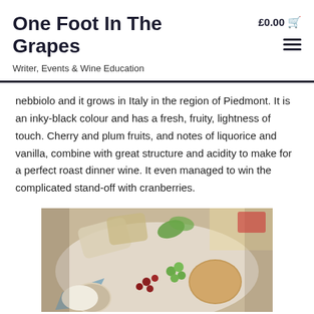One Foot In The Grapes
£0.00
Writer, Events & Wine Education
nebbiolo and it grows in Italy in the region of Piedmont. It is an inky-black colour and has a fresh, fruity, lightness of touch. Cherry and plum fruits, and notes of liquorice and vanilla, combine with great structure and acidity to make for a perfect roast dinner wine. It even managed to win the complicated stand-off with cranberries.
[Figure (photo): A cheese board with crackers, grapes, blue cheese, and various accompaniments on a decorative plate]